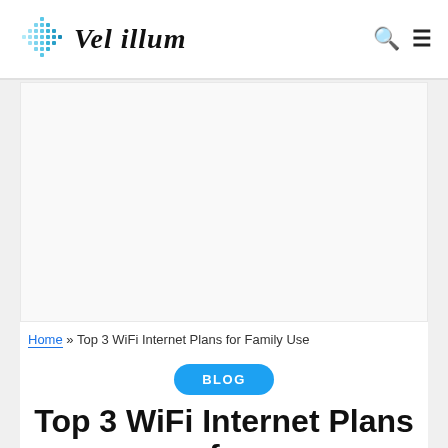Vel illum
[Figure (other): Advertisement placeholder area (blank white box)]
Home » Top 3 WiFi Internet Plans for Family Use
BLOG
Top 3 WiFi Internet Plans for Family Use